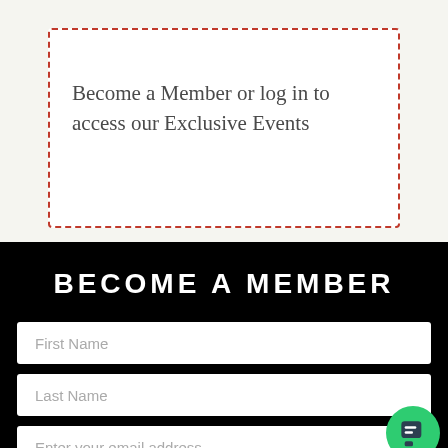Become a Member or log in to access our Exclusive Events
BECOME A MEMBER
First Name
Last Name
Enter your email address